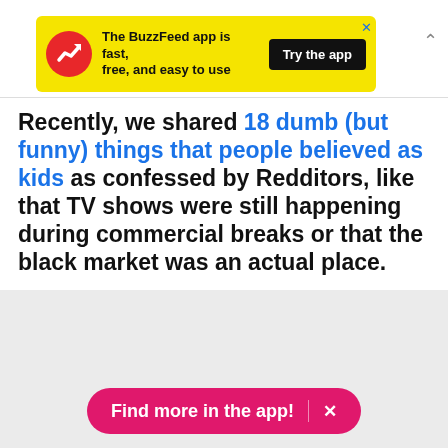[Figure (screenshot): BuzzFeed app advertisement banner with yellow background, red circular logo with white trending arrow, text 'The BuzzFeed app is fast, free, and easy to use', black 'Try the app' button, and X close button]
Recently, we shared 18 dumb (but funny) things that people believed as kids as confessed by Redditors, like that TV shows were still happening during commercial breaks or that the black market was an actual place.
[Figure (screenshot): Grey image loading placeholder area with a grey gear/loading spinner icon in the center and a pink 'Find more in the app!' button with X at the bottom]